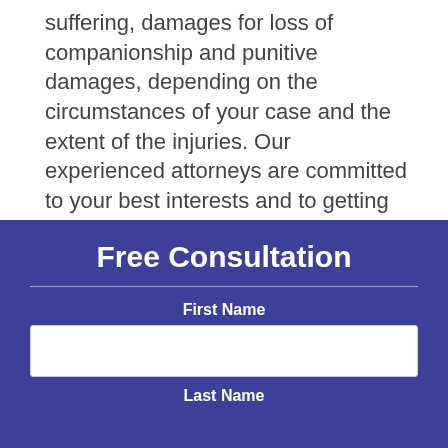suffering, damages for loss of companionship and punitive damages, depending on the circumstances of your case and the extent of the injuries. Our experienced attorneys are committed to your best interests and to getting you the relief you need and deserve.
Free Consultation
First Name
Last Name